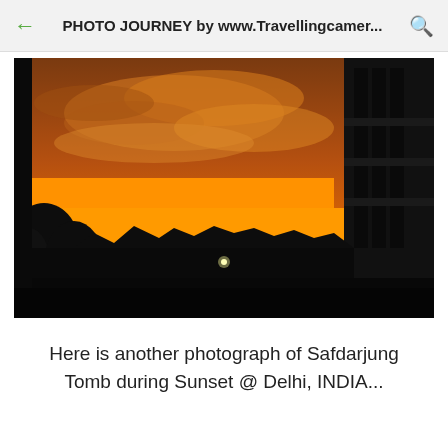PHOTO JOURNEY by www.Travellingcamer...
[Figure (photo): Silhouette photograph of Safdarjung Tomb at sunset in Delhi, India. The sky is vivid orange and yellow with clouds. Tree silhouettes line the bottom. A tall ornate building structure is visible in dark silhouette on the right side. A small light is visible in the lower center of the image.]
Here is another photograph of Safdarjung Tomb during Sunset @ Delhi, INDIA...